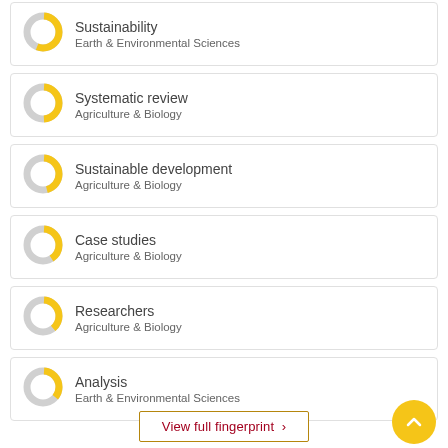Sustainability
Earth & Environmental Sciences
Systematic review
Agriculture & Biology
Sustainable development
Agriculture & Biology
Case studies
Agriculture & Biology
Researchers
Agriculture & Biology
Analysis
Earth & Environmental Sciences
View full fingerprint ›